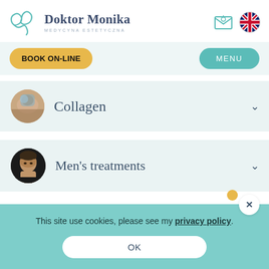[Figure (logo): Doktor Monika logo with teal heart/ribbon SVG icon and text 'Doktor Monika MEDYCYNA ESTETYCZNA']
[Figure (illustration): Email envelope icon (teal outline)]
[Figure (illustration): UK flag circle icon]
BOOK ON-LINE
MENU
[Figure (photo): Circular avatar showing a close-up skincare/collagen treatment photo]
Collagen
[Figure (photo): Circular avatar showing a young man's face for men's treatments]
Men's treatments
This site use cookies, please see my privacy policy.
OK